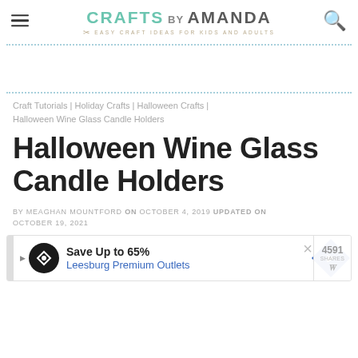CRAFTS BY AMANDA — EASY CRAFT IDEAS FOR KIDS AND ADULTS
Craft Tutorials | Holiday Crafts | Halloween Crafts | Halloween Wine Glass Candle Holders
Halloween Wine Glass Candle Holders
BY MEAGHAN MOUNTFORD ON OCTOBER 4, 2019 UPDATED ON OCTOBER 19, 2021
[Figure (screenshot): Advertisement banner: Save Up to 65% Leesburg Premium Outlets]